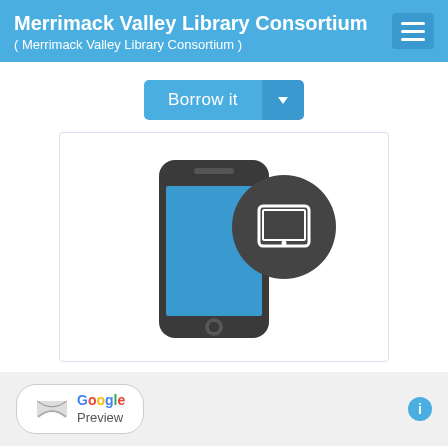Merrimack Valley Library Consortium ( Merrimack Valley Library Consortium )
[Figure (screenshot): A 'Borrow it' button with dropdown arrow in blue]
[Figure (illustration): Smartphone icon with teal screen and overlapping dark circle with tablet icon]
[Figure (logo): Google Preview button with book icon]
Drum Dream Girl